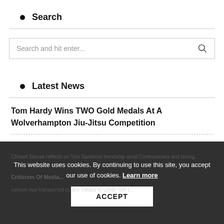Search
Search and hit enter...
Latest News
Tom Hardy Wins TWO Gold Medals At A Wolverhampton Jiu-Jitsu Competition
This website uses cookies. By continuing to use this site, you accept our use of cookies. Learn more
ACCEPT